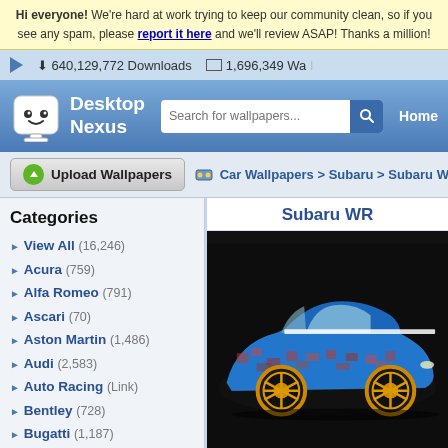Hi everyone! We're hard at work trying to keep our community clean, so if you see any spam, please report it here and we'll review ASAP! Thanks a million!
640,129,772 Downloads   1,696,349 Wallpapers
[Figure (logo): Desktop Nexus logo with robot mascot, search bar, and Home navigation link]
[Figure (screenshot): Upload Wallpapers button and breadcrumb: Car Wallpapers > Subaru > Subaru WR...]
Categories
View All (16,246)
Acura (759)
Alfa Romeo (791)
Ascari (70)
Aston Martin (1,486)
Audi (2,583)
Auto Racing (Link)
Bentley (728)
Bugatti (1,187)
Buick (882)
BMW (3,416)
Cadillac (1,167)
Chevrolet (14,550)
Chrysler (507)
Citroen (481)
Subaru WR...
[Figure (photo): Subaru WRX with colorful mosaic/graffiti paint job, blue with red/orange wheel rims, photographed against dark background]